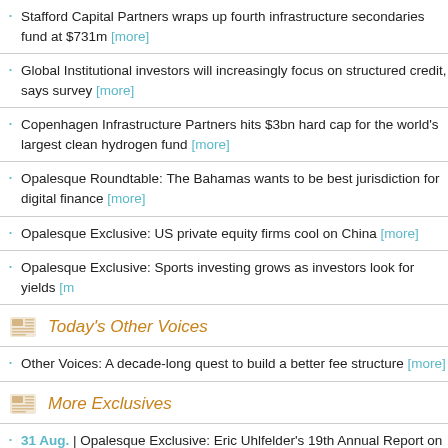Stafford Capital Partners wraps up fourth infrastructure secondaries fund at $731m [more]
Global Institutional investors will increasingly focus on structured credit, says survey [more]
Copenhagen Infrastructure Partners hits $3bn hard cap for the world's largest clean hydrogen fund [more]
Opalesque Roundtable: The Bahamas wants to be best jurisdiction for digital finance [more]
Opalesque Exclusive: US private equity firms cool on China [more]
Opalesque Exclusive: Sports investing grows as investors look for yields [m...
Today's Other Voices
Other Voices: A decade-long quest to build a better fee structure [more]
More Exclusives
31 Aug. | Opalesque Exclusive: Eric Uhlfelder's 19th Annual Report on the...